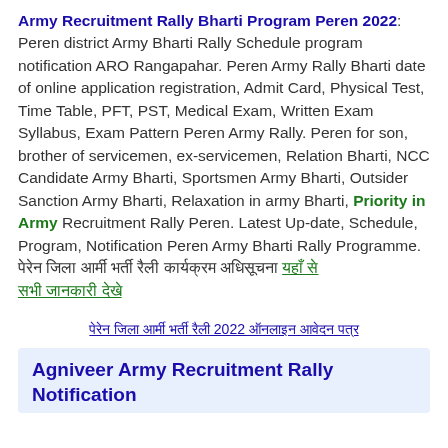Army Recruitment Rally Bharti Program Peren 2022: Peren district Army Bharti Rally Schedule program notification ARO Rangapahar. Peren Army Rally Bharti date of online application registration, Admit Card, Physical Test, Time Table, PFT, PST, Medical Exam, Written Exam Syllabus, Exam Pattern Peren Army Rally. Peren for son, brother of servicemen, ex-servicemen, Relation Bharti, NCC Candidate Army Bharti, Sportsmen Army Bharti, Outsider Sanction Army Bharti, Relaxation in army Bharti, Priority in Army Recruitment Rally Peren. Latest Up-date, Schedule, Program, Notification Peren Army Bharti Rally Programme. [Hindi text] [Hindi green text]
[Hindi link text - centered]
Agniveer Army Recruitment Rally Notification